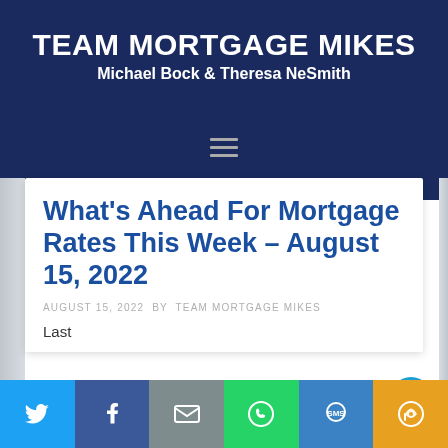TEAM MORTGAGE MIKES
Michael Bock & Theresa NeSmith
What's Ahead For Mortgage Rates This Week – August 15, 2022
AUGUST 15, 2022 BY TEAM MORTGAGE MIKES
Last